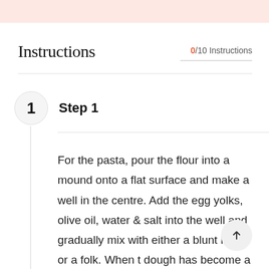Instructions
0/10 Instructions
Step 1
For the pasta, pour the flour into a mound onto a flat surface and make a well in the centre. Add the egg yolks, olive oil, water & salt into the well and gradually mix with either a blunt knife or a folk. When the dough has become a thick paste use your